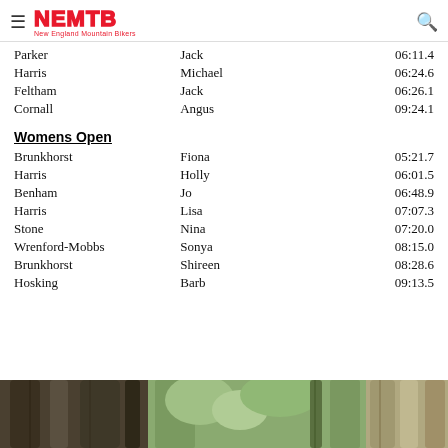NEMTB — New England Mountain Bikers
| Last Name | First Name | Time |
| --- | --- | --- |
| Parker | Jack | 06:11.4 |
| Harris | Michael | 06:24.6 |
| Feltham | Jack | 06:26.1 |
| Cornall | Angus | 09:24.1 |
Womens Open
| Last Name | First Name | Time |
| --- | --- | --- |
| Brunkhorst | Fiona | 05:21.7 |
| Harris | Holly | 06:01.5 |
| Benham | Jo | 06:48.9 |
| Harris | Lisa | 07:07.3 |
| Stone | Nina | 07:20.0 |
| Wrenford-Mobbs | Sonya | 08:15.0 |
| Brunkhorst | Shireen | 08:28.6 |
| Hosking | Barb | 09:13.5 |
[Figure (photo): Outdoor forest/tree scene photo strip at bottom of page]